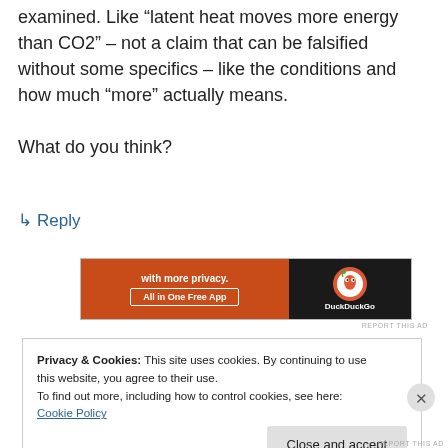examined. Like “latent heat moves more energy than CO2” – not a claim that can be falsified without some specifics – like the conditions and how much “more” actually means.

What do you think?
↳ Reply
[Figure (other): DuckDuckGo advertisement banner: orange section with text 'with more privacy. All in One Free App' and dark section with DuckDuckGo logo and brand name.]
REPORT THIS AD
Privacy & Cookies: This site uses cookies. By continuing to use this website, you agree to their use.
To find out more, including how to control cookies, see here: Cookie Policy